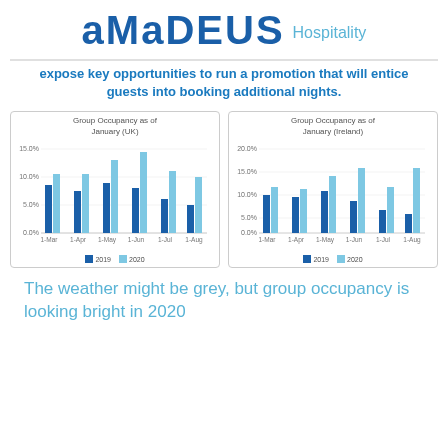AMADEUS Hospitality
expose key opportunities to run a promotion that will entice guests into booking additional nights.
[Figure (grouped-bar-chart): Group Occupancy as of January (UK)]
[Figure (grouped-bar-chart): Group Occupancy as of January (Ireland)]
The weather might be grey, but group occupancy is looking bright in 2020